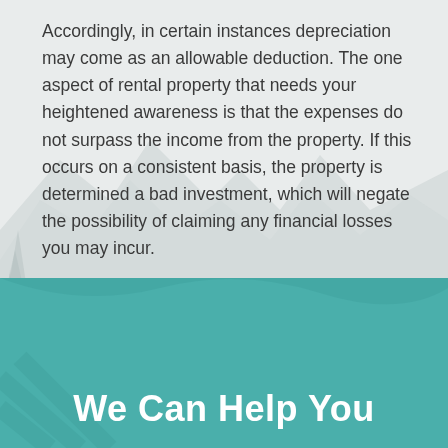Accordingly, in certain instances depreciation may come as an allowable deduction. The one aspect of rental property that needs your heightened awareness is that the expenses do not surpass the income from the property. If this occurs on a consistent basis, the property is determined a bad investment, which will negate the possibility of claiming any financial losses you may incur.
We Can Help You